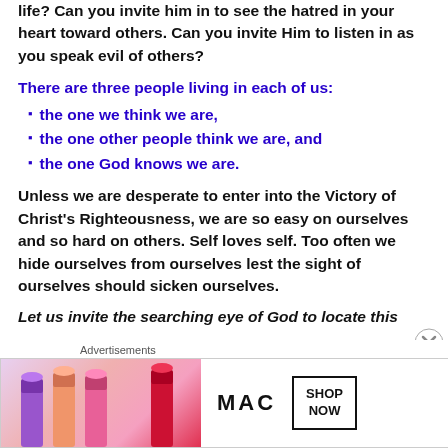life? Can you invite him in to see the hatred in your heart toward others. Can you invite Him to listen in as you speak evil of others?
There are three people living in each of us:
the one we think we are,
the one other people think we are, and
the one God knows we are.
Unless we are desperate to enter into the Victory of Christ's Righteousness, we are so easy on ourselves and so hard on others. Self loves self. Too often we hide ourselves from ourselves lest the sight of ourselves should sicken ourselves.
Let us invite the searching eye of God to locate this
[Figure (advertisement): MAC cosmetics advertisement banner showing lipsticks and 'SHOP NOW' button]